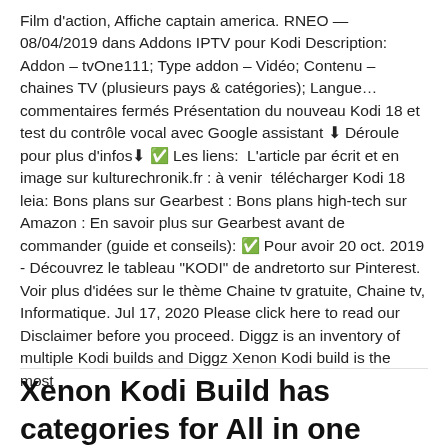Film d'action, Affiche captain america. RNEO — 08/04/2019 dans Addons IPTV pour Kodi Description: Addon – tvOne111; Type addon – Vidéo; Contenu – chaines TV (plusieurs pays & catégories); Langue… commentaires fermés Présentation du nouveau Kodi 18 et test du contrôle vocal avec Google assistant ⬇ Déroule pour plus d'infos⬇ ✅ Les liens:  L'article par écrit et en image sur kulturechronik.fr : à venir  télécharger Kodi 18 leia: Bons plans sur Gearbest : Bons plans high-tech sur Amazon : En savoir plus sur Gearbest avant de commander (guide et conseils): ✅ Pour avoir 20 oct. 2019 - Découvrez le tableau "KODI" de andretorto sur Pinterest. Voir plus d'idées sur le thème Chaine tv gratuite, Chaine tv, Informatique. Jul 17, 2020 Please click here to read our Disclaimer before you proceed. Diggz is an inventory of multiple Kodi builds and Diggz Xenon Kodi build is the most
Xenon Kodi Build has categories for All in one Android Explore